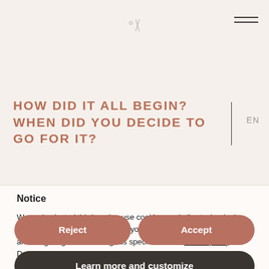[Figure (other): Sparkle/star decorative icon in header area]
[Figure (other): Hamburger menu icon (three horizontal lines) in top right corner]
HOW DID IT ALL BEGIN? WHEN DID YOU DECIDE TO GO FOR IT?
EN
Notice
We and selected third parties use cookies or similar technologies for technical purposes and, with your consent, for “measurement” and “targeting & advertising” as specified in the cookie policy. Denying consent may make related features unavailable.
You can freely give, deny, or withdraw your consent at any time.
Reject
Accept
Learn more and customize